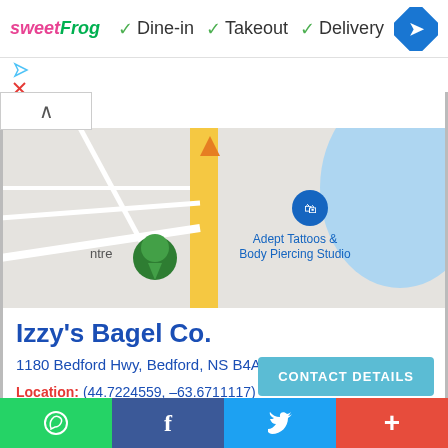[Figure (screenshot): SweetFrog logo with pink 'sweet' and green 'Frog' text, followed by green checkmarks and Dine-in, Takeout, Delivery service labels, and a blue diamond navigation icon on the right]
[Figure (map): Google Maps screenshot showing Bedford, NS area with roads, a green location pin labeled 'ntre', a blue shopping bag pin labeled 'Adept Tattoos & Body Piercing Studio', yellow highway, and blue water on the right]
Izzy's Bagel Co.
1180 Bedford Hwy, Bedford, NS B4A 1C1, Canada
Location: (44.7224559, -63.6711117)
Rating: 4.8/5 ★★★★★ (364) Votes
CONTACT DETAILS
WhatsApp | Facebook | Twitter | +